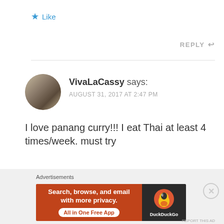★ Like
REPLY ↩
VivaLaCassy says:
AUGUST 31, 2017 AT 2:47 PM
I love panang curry!!! I eat Thai at least 4 times/week. must try
★ Liked by 1 person
[Figure (other): DuckDuckGo advertisement banner: orange section with text 'Search, browse, and email with more privacy. All in One Free App', dark section with DuckDuckGo duck logo and name]
Advertisements